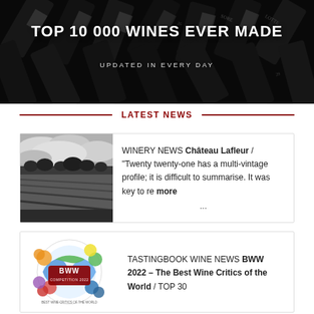[Figure (photo): Black and white photo of wine bottles/crates stacked at angles, used as hero banner background]
TOP 10 000 WINES EVER MADE
UPDATED IN EVERY DAY
LATEST NEWS
[Figure (photo): Black and white photo of a vineyard landscape with trees on the horizon]
WINERY NEWS Château Lafleur / "Twenty twenty-one has a multi-vintage profile; it is difficult to summarise. It was key to re more ...
[Figure (logo): BWW Competition 2022 – Best Wine Critics of the World logo, colorful globe with circles]
TASTINGBOOK WINE NEWS BWW 2022 – The Best Wine Critics of the World / TOP 30